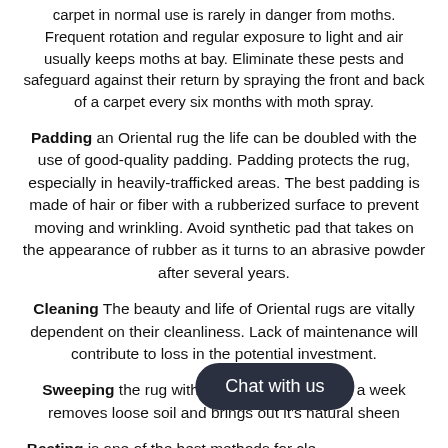carpet in normal use is rarely in danger from moths. Frequent rotation and regular exposure to light and air usually keeps moths at bay. Eliminate these pests and safeguard against their return by spraying the front and back of a carpet every six months with moth spray.
Padding an Oriental rug the life can be doubled with the use of good-quality padding. Padding protects the rug, especially in heavily-trafficked areas. The best padding is made of hair or fiber with a rubberized surface to prevent moving and wrinkling. Avoid synthetic pad that takes on the appearance of rubber as it turns to an abrasive powder after several years.
Cleaning The beauty and life of Oriental rugs are vitally dependent on their cleanliness. Lack of maintenance will contribute to loss in the potential investment.
Sweeping the rug with a broom at least once a week removes loose soil and brings out it's natural sheen
Beating is one of the best methods for cleaning. It should be beaten several times on each side, always...
Vacuuming Try to use a low suction level and a new bag. Never
[Figure (other): Chat with us button overlay]